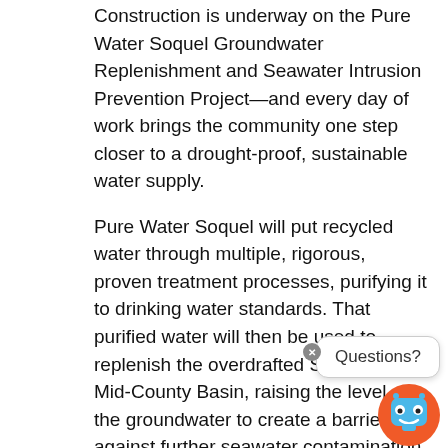Construction is underway on the Pure Water Soquel Groundwater Replenishment and Seawater Intrusion Prevention Project—and every day of work brings the community one step closer to a drought-proof, sustainable water supply.
Pure Water Soquel will put recycled water through multiple, rigorous, proven treatment processes, purifying it to drinking water standards. That purified water will then be used to replenish the overdrafted Santa Cruz Mid-County Basin, raising the level of the groundwater to create a barrier against further seawater contamination of the water supply, and providing a significant, sustainable supplemental source of water. This basin is the District's sole source of water for its customers and is also used by the City of Santa Cruz, Central Water District, other small mutual water pumpers, and thousands of private well owners.
The key components being built as part of Pure Water Soquel are: three Seawater Intrusion Prevention
[Figure (other): Chatbot widget overlay in bottom-right corner showing a 'Questions?' speech bubble with a close button and an orange robot icon below it.]